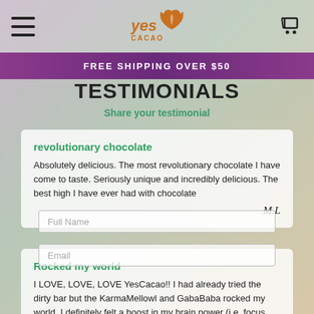YES CACAO - Navigation bar with hamburger menu and cart icon
FREE SHIPPING OVER $50
TESTIMONIALS
Share your testimonial
revolutionary chocolate
Absolutely delicious. The most revolutionary chocolate I have come to taste. Seriously unique and incredibly delicious. The best high I have ever had with chocolate
M.L
Rocked my world
I LOVE, LOVE, LOVE YesCacao!! I had already tried the dirty bar but the KarmaMellowl and GabaBaba rocked my world. I definitely felt a boost in my brain power (i.e. focus